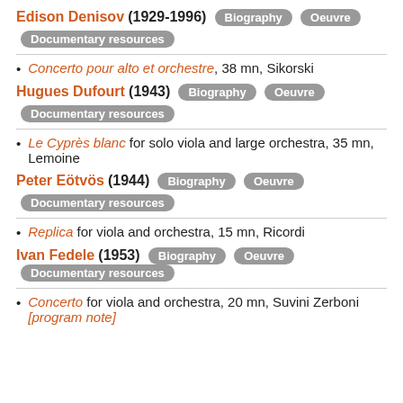Edison Denisov (1929-1996) Biography Oeuvre Documentary resources
Concerto pour alto et orchestre, 38 mn, Sikorski
Hugues Dufourt (1943) Biography Oeuvre Documentary resources
Le Cyprès blanc for solo viola and large orchestra, 35 mn, Lemoine
Peter Eötvös (1944) Biography Oeuvre Documentary resources
Replica for viola and orchestra, 15 mn, Ricordi
Ivan Fedele (1953) Biography Oeuvre Documentary resources
Concerto for viola and orchestra, 20 mn, Suvini Zerboni [program note]